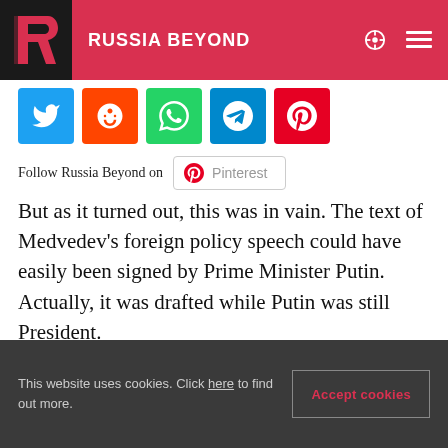RUSSIA BEYOND
[Figure (other): Social media share icons: Twitter (blue), Reddit (orange), WhatsApp (green), Telegram (blue), Pinterest (red)]
Follow Russia Beyond on   Pinterest
But as it turned out, this was in vain. The text of Medvedev's foreign policy speech could have easily been signed by Prime Minister Putin. Actually, it was drafted while Putin was still President.
What is routinely referred to as Putin's foreign
This website uses cookies. Click here to find out more.   Accept cookies